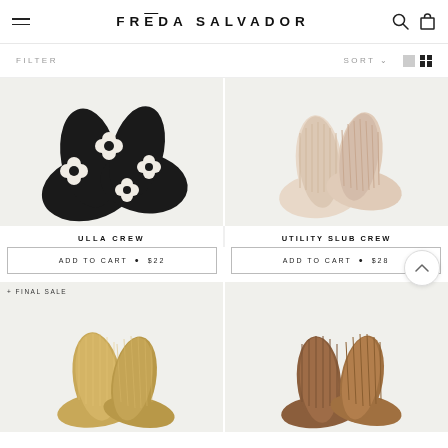FRĒDA SALVADOR
FILTER
SORT
[Figure (photo): Black crew socks with white flower pattern (ULLA CREW)]
[Figure (photo): Cream/beige ribbed crew socks (UTILITY SLUB CREW)]
ULLA CREW
UTILITY SLUB CREW
ADD TO CART • $22
ADD TO CART • $28
[Figure (photo): Metallic gold/tan sparkle crew socks with FINAL SALE tag]
[Figure (photo): Brown/camel ribbed crew socks]